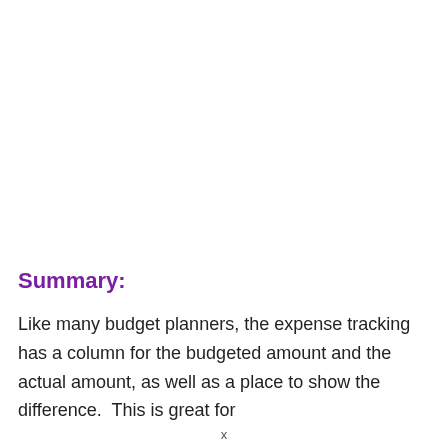Summary:
Like many budget planners, the expense tracking has a column for the budgeted amount and the actual amount, as well as a place to show the difference.  This is great for